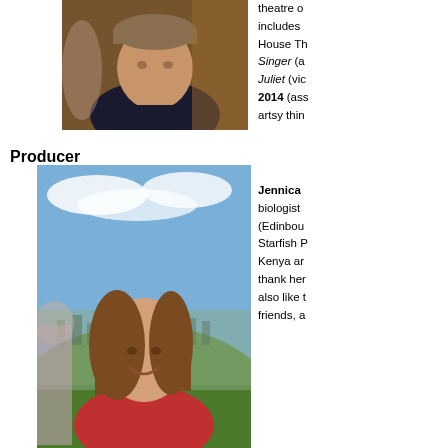[Figure (photo): Young man wearing a knit cap and dark polo shirt, looking to the side, dark background with warm amber tones]
theatre o... includes... House Th... Singer (a... Juliet (vic... 2014 (ass... artsy thin...
Producer
[Figure (photo): Young woman smiling outdoors on a hillside with a city and clouds visible in the background, wearing a red jacket, another person partially visible to her left]
Jennica... biologist... (Edinbou... Starfish P... Kenya ar... thank her... also like t... friends, a...